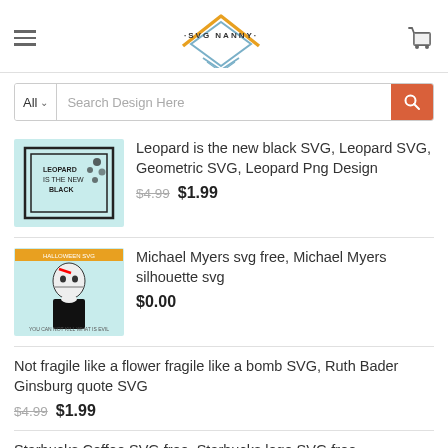SVG NANNY — website header with logo, hamburger menu, and cart icon
Search Design Here
Leopard is the new black SVG, Leopard SVG, Geometric SVG, Leopard Png Design — $4.99  $1.99
Michael Myers svg free, Michael Myers silhouette svg — $0.00
Not fragile like a flower fragile like a bomb SVG, Ruth Bader Ginsburg quote SVG — $4.99  $1.99
Starbucks Coffee SVG free, Starbucks logo SVG free — $0.00